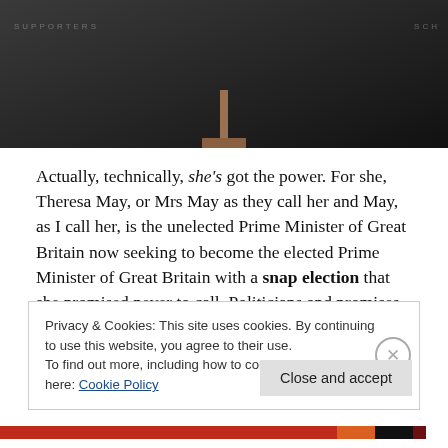[Figure (photo): A dark photograph showing what appears to be a lectern or podium stand against a dark background with faint text markings.]
Actually, technically, she's got the power. For she, Theresa May, or Mrs May as they call her and May, as I call her, is the unelected Prime Minister of Great Britain now seeking to become the elected Prime Minister of Great Britain with a snap election that she promised never to call. Politicians and promises, eh? Cuh.
I guess it's called a “snap” election because it’s going to
Privacy & Cookies: This site uses cookies. By continuing to use this website, you agree to their use.
To find out more, including how to control cookies, see here: Cookie Policy
Close and accept